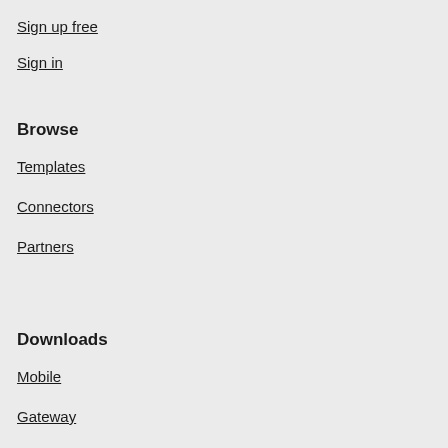Sign up free
Sign in
Browse
Templates
Connectors
Partners
Downloads
Mobile
Gateway
Learn
Documentation